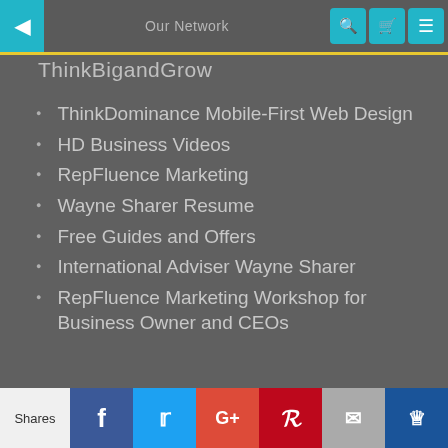Our Network | ThinkBigandGrow
ThinkDominance Mobile-First Web Design
HD Business Videos
RepFluence Marketing
Wayne Sharer Resume
Free Guides and Offers
International Adviser Wayne Sharer
RepFluence Marketing Workshop for Business Owner and CEOs
This site uses cookies to track behavior. We do not collect personal information unless you specifically provide it. We also use cookies to track advertisements and numbers of visitors. These cookies do not collect any personal information.
Shares